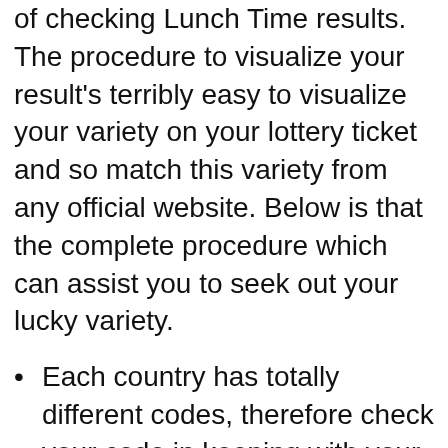of checking Lunch Time results. The procedure to visualize your result's terribly easy to visualize your variety on your lottery ticket and so match this variety from any official website. Below is that the complete procedure which can assist you to seek out your lucky variety.
Each country has totally different codes, therefore check your code in keeping with your country, like metropolis, Ireland, the big apple ar 49, 49, and 59.
Once you've got the code, you'll match your codes with results. Results are displayed on the websites each day, and